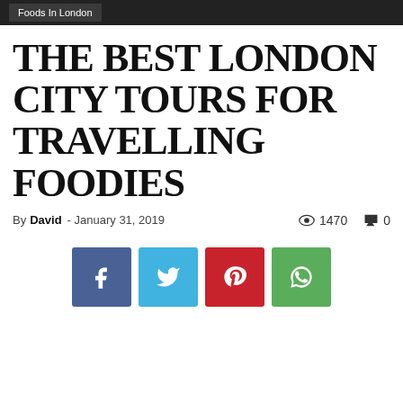Foods In London
THE BEST LONDON CITY TOURS FOR TRAVELLING FOODIES
By David - January 31, 2019   👁 1470   💬 0
[Figure (infographic): Social share buttons: Facebook (blue), Twitter (light blue), Pinterest (red), WhatsApp (green)]